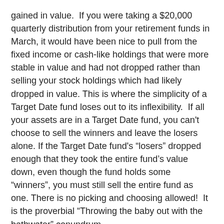gained in value.  If you were taking a $20,000 quarterly distribution from your retirement funds in March, it would have been nice to pull from the fixed income or cash-like holdings that were more stable in value and had not dropped rather than selling your stock holdings which had likely dropped in value. This is where the simplicity of a Target Date fund loses out to its inflexibility.  If all your assets are in a Target Date fund, you can't choose to sell the winners and leave the losers alone. If the Target Date fund's “losers” dropped enough that they took the entire fund's value down, even though the fund holds some “winners”, you must still sell the entire fund as one. There is no picking and choosing allowed!  It is the proverbial “Throwing the baby out with the bathwater” conundrum.
When you are close to, or in retirement and you are actively spending from your portfolio, I think it is better to have the flexibility that comes from breaking your actual retirement portfolio into its constituent parts.  At Jim Saulnier & Associates we call this “positioning” and it allows you the flexibility to pick and choose what holdings you sell under what market conditions.